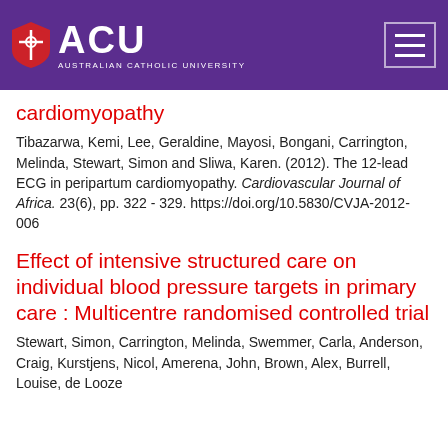[Figure (logo): Australian Catholic University (ACU) logo with shield and text on purple header background, plus hamburger menu button]
cardiomyopathy
Tibazarwa, Kemi, Lee, Geraldine, Mayosi, Bongani, Carrington, Melinda, Stewart, Simon and Sliwa, Karen. (2012). The 12-lead ECG in peripartum cardiomyopathy. Cardiovascular Journal of Africa. 23(6), pp. 322 - 329. https://doi.org/10.5830/CVJA-2012-006
Effect of intensive structured care on individual blood pressure targets in primary care : Multicentre randomised controlled trial
Stewart, Simon, Carrington, Melinda, Swemmer, Carla, Anderson, Craig, Kurstjens, Nicol, Amerena, John, Brown, Alex, Burrell, Louise, de Looze